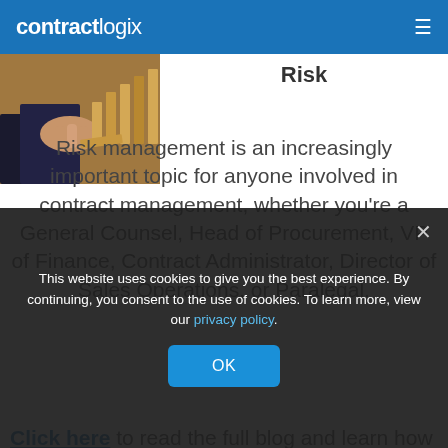contractlogix
Risk
[Figure (photo): Person's hand stopping falling dominos on a wooden table]
Risk management is an increasingly important topic for anyone involved in contract management, whether you're a General Counsel, Head of Procurement, VP of Finance, Contract Administrator, Director of Sales Operations, or Paralegal.
Click here to read the full blog and learn how
This website uses cookies to give you the best experience. By continuing, you consent to the use of cookies. To learn more, view our privacy policy. OK